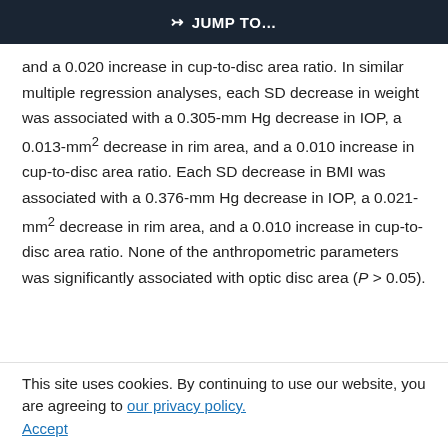JUMP TO…
and a 0.020 increase in cup-to-disc area ratio. In similar multiple regression analyses, each SD decrease in weight was associated with a 0.305-mm Hg decrease in IOP, a 0.013-mm² decrease in rim area, and a 0.010 increase in cup-to-disc area ratio. Each SD decrease in BMI was associated with a 0.376-mm Hg decrease in IOP, a 0.021-mm² decrease in rim area, and a 0.010 increase in cup-to-disc area ratio. None of the anthropometric parameters was significantly associated with optic disc area (P > 0.05).
This site uses cookies. By continuing to use our website, you are agreeing to our privacy policy. Accept